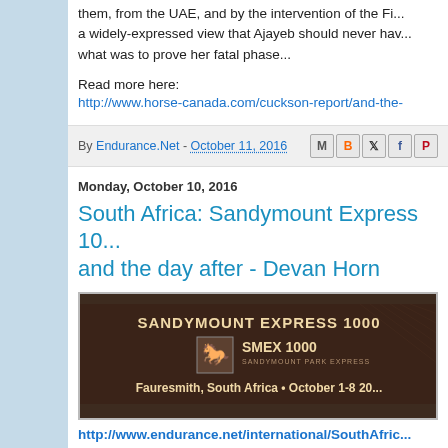them, from the UAE, and by the intervention of the FE... a widely-expressed view that Ajayeb should never ha... what was to prove her fatal phase...
Read more here:
http://www.horse-canada.com/cuckson-report/and-the-
By Endurance.Net - October 11, 2016
Monday, October 10, 2016
South Africa: Sandymount Express 10... and the day after - Devan Horn
[Figure (illustration): Dark brown banner for Sandymount Express 1000 (SMEX 1000) event in Fauresmith, South Africa, October 1-8, with horse logo]
http://www.endurance.net/international/SouthAfric... 1000